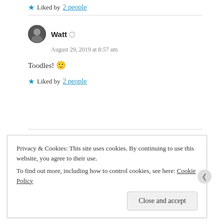★ Liked by 2 people
Watt  August 29, 2019 at 8:57 am
Toodles! 🙂
★ Liked by 2 people
MichelleMarie  August 29, 2019 at 4:49 pm
Privacy & Cookies: This site uses cookies. By continuing to use this website, you agree to their use. To find out more, including how to control cookies, see here: Cookie Policy
Close and accept